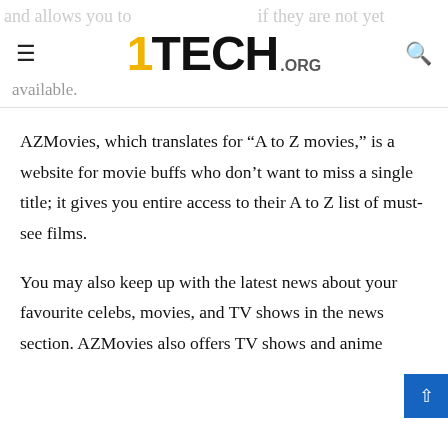1TECH.ORG
available.
AZMovies, which translates for “A to Z movies,” is a website for movie buffs who don’t want to miss a single title; it gives you entire access to their A to Z list of must-see films.
You may also keep up with the latest news about your favourite celebs, movies, and TV shows in the news section. AZMovies also offers TV shows and anime